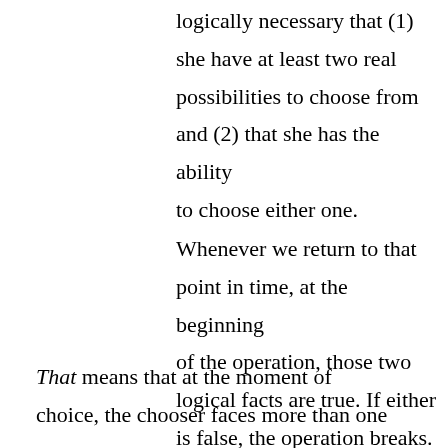logically necessary that (1) she have at least two real possibilities to choose from and (2) that she has the ability to choose either one. Whenever we return to that point in time, at the beginning of the operation, those two logical facts are true. If either is false, the operation breaks.
That means that at the moment of choice, the chooser faces more than one